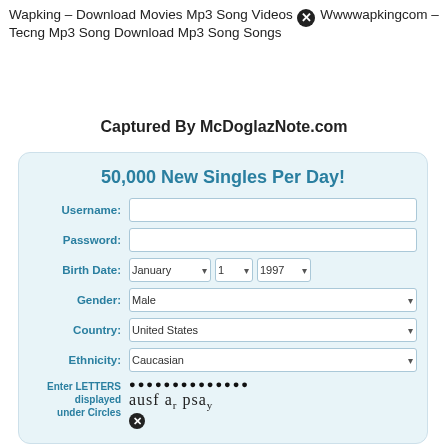Wapking – Download Movies Mp3 Song Videos Wwwwapkingcom – Tecng Mp3 Song Download Mp3 Song Songs
Captured By McDoglazNote.com
[Figure (screenshot): A web form card with light blue background titled '50,000 New Singles Per Day!' containing form fields: Username (text input), Password (text input), Birth Date (dropdowns: January, 1, 1997), Gender (dropdown: Male), Country (dropdown: United States), Ethnicity (dropdown: Caucasian), and a CAPTCHA section with dots and text 'ausf ar psa y']